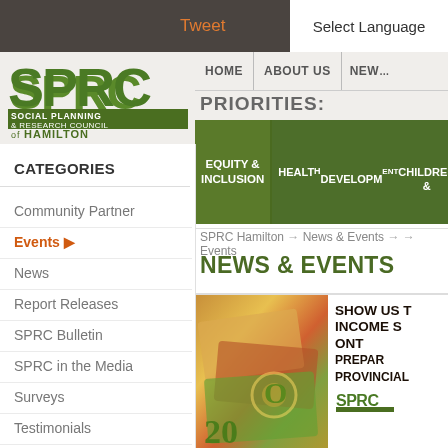Tweet | Select Language
[Figure (logo): SPRC Social Planning & Research Council of Hamilton logo in green]
HOME | ABOUT US | NEW...
PRIORITIES:
EQUITY & INCLUSION | HEALTH DEVELOPMENT CHILDREN &
SPRC Hamilton → News & Events → → Events
NEWS & EVENTS
CATEGORIES
Community Partner
Events ▶
News
Report Releases
SPRC Bulletin
SPRC in the Media
Surveys
Testimonials
Uncategorized
[Figure (photo): Close-up photo of Canadian currency bills (20 dollar bills, colourful)]
SHOW US T... INCOME S... ONT... PREPAR... PROVINCIAL...